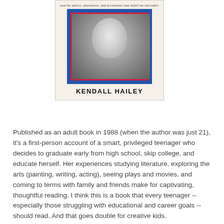[Figure (photo): Book cover showing a black-and-white photo of a young woman (Kendall Hailey) smiling, framed with blue and red borders. Italic subtitle text reads 'and the advice, adventures, and acrimonies that befell me thereafter'. Author name 'KENDALL HAILEY' appears below the photo in bold uppercase serif text.]
Published as an adult book in 1988 (when the author was just 21), it's a first-person account of a smart, privileged teenager who decides to graduate early from high school, skip college, and educate herself. Her experiences studying literature, exploring the arts (painting, writing, acting), seeing plays and movies, and coming to terms with family and friends make for captivating, thoughtful reading. I think this is a book that every teenager -- especially those struggling with educational and career goals -- should read. And that goes double for creative kids.